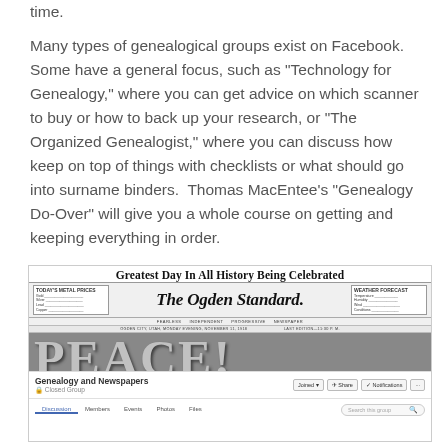time.
Many types of genealogical groups exist on Facebook.  Some have a general focus, such as "Technology for Genealogy," where you can get advice on which scanner to buy or how to back up your research, or "The Organized Genealogist," where you can discuss how keep on top of things with checklists or what should go into surname binders.  Thomas MacEntee's "Genealogy Do-Over" will give you a whole course on getting and keeping everything in order.
[Figure (screenshot): Screenshot of a Facebook group called 'Genealogy and Newspapers' showing an image of The Ogden Standard newspaper front page with headline 'Greatest Day In All History Being Celebrated' and large 'PEACE!' letters. The group is marked as a Closed Group with Joined, Share, Notifications buttons and navigation tabs for Discussion, Members, Events, Photos, Files.]